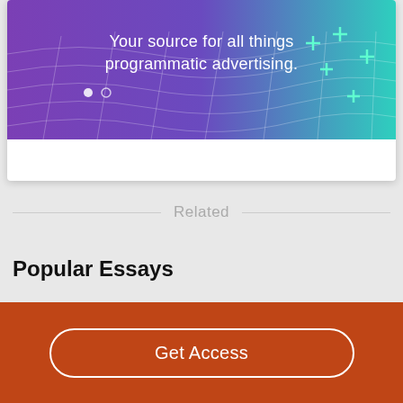[Figure (illustration): Banner advertisement with purple-to-teal gradient background, decorative grid wave pattern, plus signs, and white text reading 'Your source for all things programmatic advertising.' with two dot indicators below]
Related
Popular Essays
Get Access